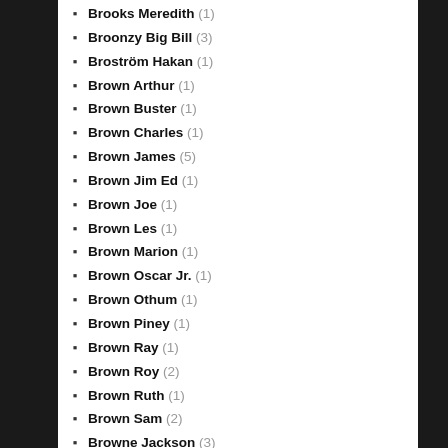Brooks Meredith (1)
Broonzy Big Bill (3)
Broström Hakan (1)
Brown Arthur (1)
Brown Buster (1)
Brown Charles (1)
Brown James (5)
Brown Jim Ed (1)
Brown Joe (1)
Brown Les (1)
Brown Marion (1)
Brown Oscar Jr. (1)
Brown Othum (1)
Brown Piney (1)
Brown Ray (1)
Brown Roy (2)
Brown Ruth (1)
Brown Sam (2)
Browne Jackson (3)
Browne Jann (1)
Brownsville Station (2)
Brubeck Dave (9)